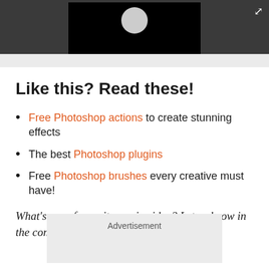[Figure (screenshot): Dark grey browser bar with a video thumbnail showing a grey circle on black background, and an expand icon in the top right corner.]
Like this? Read these!
Free Photoshop actions to create stunning effects
The best Photoshop plugins
Free Photoshop brushes every creative must have!
What's your favourite music video? Let us know in the comments box below!
Advertisement